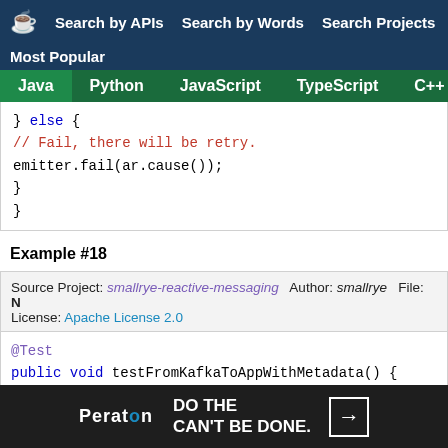Search by APIs  Search by Words  Search Projects  Most Popular
Java  Python  JavaScript  TypeScript  C++  Scala
[Figure (screenshot): Java code snippet showing else block with fail and retry comment: } else { // Fail, there will be retry. emitter.fail(ar.cause()); } }]
Example #18
Source Project: smallrye-reactive-messaging  Author: smallrye  File: N
License: Apache License 2.0
[Figure (screenshot): Java code snippet: @Test public void testFromKafkaToAppWithMetadata() { KafkaUsage usage = new KafkaUsage();]
[Figure (other): Peraton advertisement: DO THE CAN'T BE DONE.]